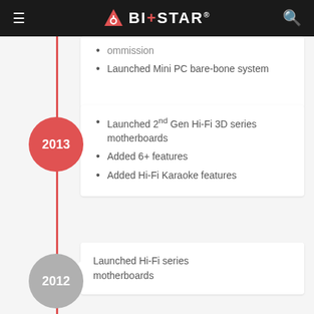BIOSTAR
Launched Mini PC bare-bone system
2013
Launched 2nd Gen Hi-Fi 3D series motherboards
Added 6+ features
Added Hi-Fi Karaoke features
2012
Launched Hi-Fi series motherboards